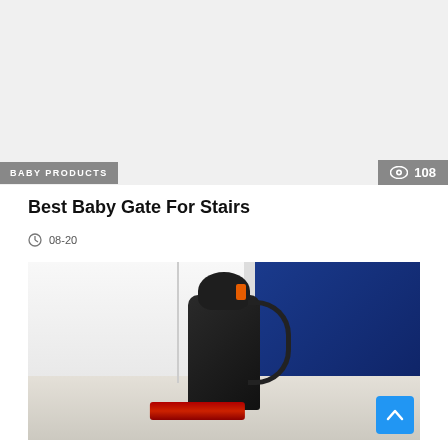[Figure (photo): Light gray/white top image area placeholder]
BABY PRODUCTS
108
Best Baby Gate For Stairs
08-20
[Figure (photo): Photo of a Bissell portable carpet/upholstery spot cleaner vacuum on a patterned rug, with white cabinet doors in background and a blue product box on the right side]